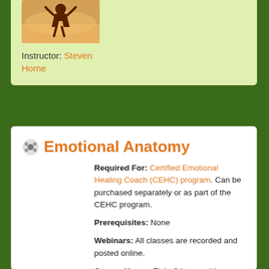[Figure (photo): Instructor photo thumbnail showing a person silhouette against a sunset background]
Instructor: Steven Horne
Emotional Anatomy
Required For: Certified Emotional Healing Coach (CEHC) program. Can be purchased separately or as part of the CEHC program.
Prerequisites: None
Webinars: All classes are recorded and posted online.
Course Hours: Eight 2-hour webinars with about 24 hours of online activities and homework for a total of about 40 hours of study.